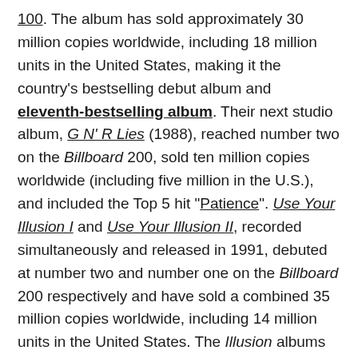100. The album has sold approximately 30 million copies worldwide, including 18 million units in the United States, making it the country's bestselling debut album and eleventh-bestselling album. Their next studio album, G N' R Lies (1988), reached number two on the Billboard 200, sold ten million copies worldwide (including five million in the U.S.), and included the Top 5 hit "Patience". Use Your Illusion I and Use Your Illusion II, recorded simultaneously and released in 1991, debuted at number two and number one on the Billboard 200 respectively and have sold a combined 35 million copies worldwide, including 14 million units in the United States. The Illusion albums included the lead single "You Could Be Mine" (also featured in the film soundtrack for Terminator 2), covers of "Live and Let Die" and "Knockin' on Heaven's Door", and a trilogy of ballads ("Don't Cry", "November Rain", and "Estranged"), which featured notably high-budget music videos. The Illusion records were also supported by the extensive Use Your Illusion Tour, a